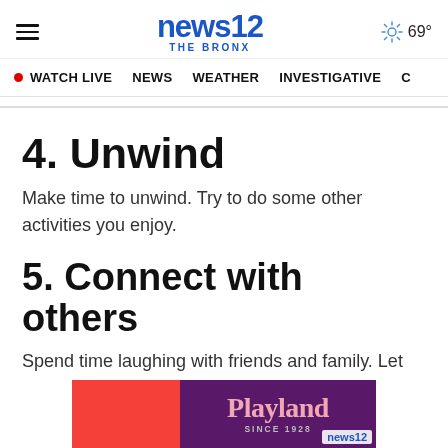news12 THE BRONX | 69°
WATCH LIVE  NEWS  WEATHER  INVESTIGATIVE  C…
4. Unwind
Make time to unwind. Try to do some other activities you enjoy.
5. Connect with others
Spend time laughing with friends and family. Let
[Figure (illustration): Playland amusement park advertisement banner with red and purple background showing 'Playland SINCE 1928' text and News12 logo overlay.]